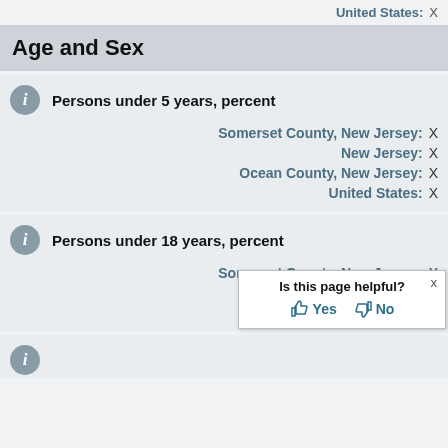United States: X
Age and Sex
Persons under 5 years, percent
Somerset County, New Jersey: X
New Jersey: X
Ocean County, New Jersey: X
United States: X
Persons under 18 years, percent
Somerset County, New Jersey: X
New Jersey: X
Ocean County, New Jersey: X